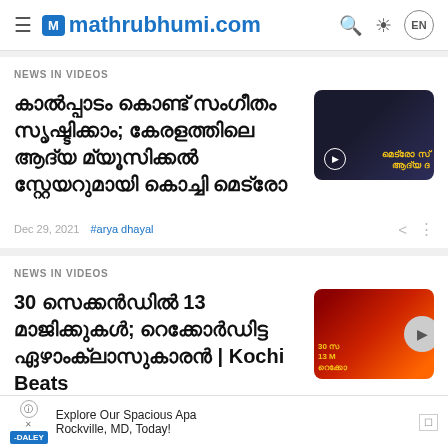mathrubhumi.com
NEWS IN VIDEOS
കാൽപ്പാടം കൊണ്ട് സംഗീതം സൃഷ്ടിക്കാം; കേരളത്തിലെ ആദ്യ മ്യൂസിക്കൽ സ്റ്റേയറുമായി കൊച്ചി മെട്രോ
Dec 29, 2021  #arya dhayal
NEWS IN VIDEOS
30 സെക്കൻഡിൽ 13 മാജിക്കുകൾ; റെക്കോർഡിട്ട ഏഴാംക്ലാസുകാരൻ | Kochi Beats
Explore Our Spacious Apa Rockville, MD, Today!